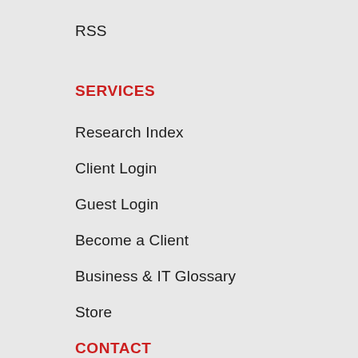RSS
SERVICES
Research Index
Client Login
Guest Login
Become a Client
Business & IT Glossary
Store
CONTACT